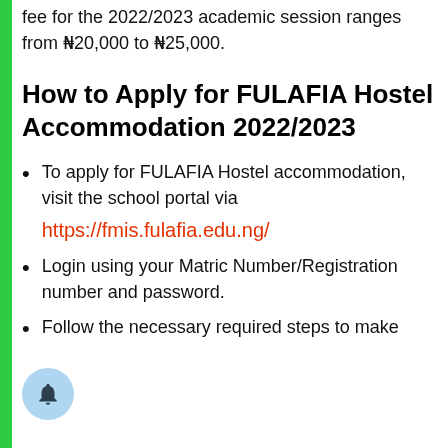fee for the 2022/2023 academic session ranges from N20,000 to N25,000.
How to Apply for FULAFIA Hostel Accommodation 2022/2023
To apply for FULAFIA Hostel accommodation, visit the school portal via https://fmis.fulafia.edu.ng/
Login using your Matric Number/Registration number and password.
Follow the necessary required steps to make